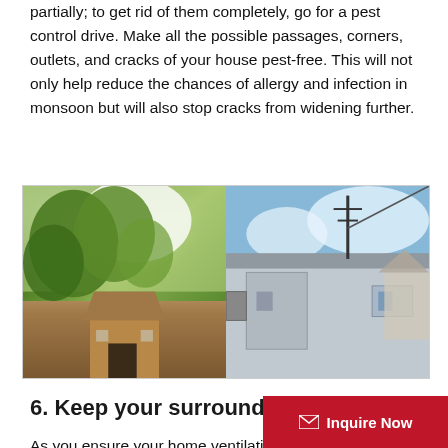partially; to get rid of them completely, go for a pest control drive. Make all the possible passages, corners, outlets, and cracks of your house pest-free. This will not only help reduce the chances of allergy and infection in monsoon but will also stop cracks from widening further.
[Figure (photo): Two side-by-side photos: left shows a house with trees in summer foliage, right shows a shed/garage exterior with an antenna/wire on top against a blue sky.]
6. Keep your surroundings clean
As you ensure your home ventilation, do not forget to check the surrounding area too. See if any tree